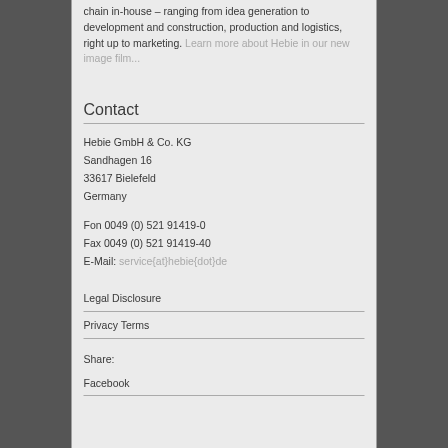chain in-house – ranging from idea generation to development and construction, production and logistics, right up to marketing. Learn more about Hebie in our new image film...
Contact
Hebie GmbH & Co. KG
Sandhagen 16
33617 Bielefeld
Germany
Fon 0049 (0) 521 91419-0
Fax 0049 (0) 521 91419-40
E-Mail: service{at}hebie{dot}de
Legal Disclosure
Privacy Terms
Share:
Facebook